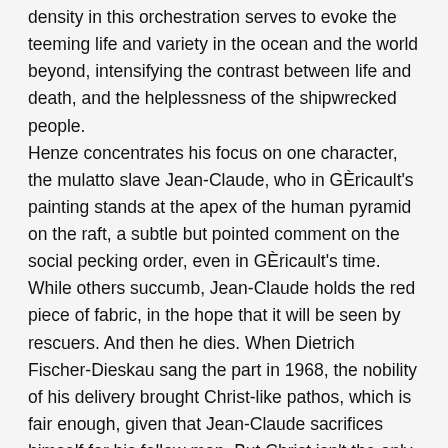density in this orchestration serves to evoke the teeming life and variety in the ocean and the world beyond, intensifying the contrast between life and death, and the helplessness of the shipwrecked people. Henze concentrates his focus on one character, the mulatto slave Jean-Claude, who in GÈricault's painting stands at the apex of the human pyramid on the raft, a subtle but pointed comment on the social pecking order, even in GÈricault's time. While others succumb, Jean-Claude holds the red piece of fabric, in the hope that it will be seen by rescuers. And then he dies. When Dietrich Fischer-Dieskau sang the part in 1968, the nobility of his delivery brought Christ-like pathos, which is fair enough, given that Jean-Claude sacrifices himself for his fellow man. But Christ isn't the only one to have done so : ordinary people do extraordinary things more often than we realize. Jean-Claude isn't necessarily Jesus, so Bo Skovhus's portrayal is probably much closer to Henze and